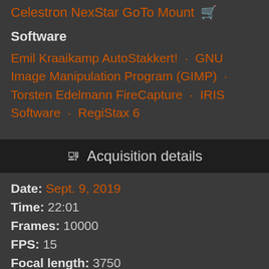Celestron NexStar GoTo Mount 🛒
Software
Emil Kraaikamp AutoStakkert! · GNU Image Manipulation Program (GIMP) · Torsten Edelmann FireCapture · IRIS Software · RegiStax 6
Acquisition details
Date: Sept. 9, 2019
Time: 22:01
Frames: 10000
FPS: 15
Focal length: 3750
CMI: 55.80
CMIII: 117.10
Seeing: 3